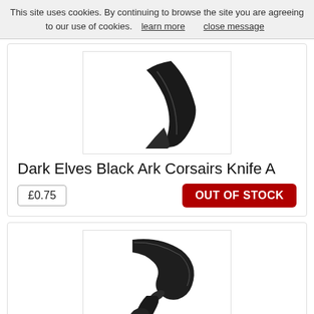This site uses cookies. By continuing to browse the site you are agreeing to our use of cookies.  learn more     close message
[Figure (photo): Product image of Dark Elves Black Ark Corsairs Knife A — a curved dark blade on white background, partially cropped at top]
Dark Elves Black Ark Corsairs Knife A
£0.75
OUT OF STOCK
[Figure (photo): Product image of Dark Elves Black Ark Corsairs Knife B — a small black scimitar/cutlass with handle detail on white background]
Dark Elves Black Ark Corsairs Knife B
£0.75
10 available